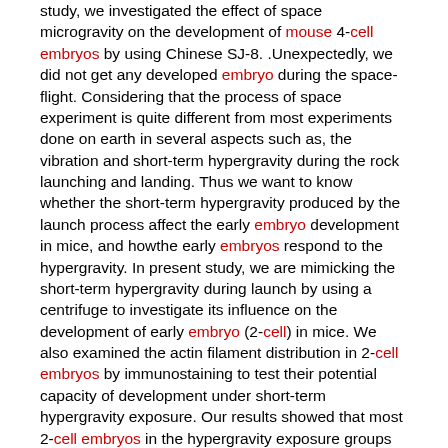study, we investigated the effect of space microgravity on the development of mouse 4-cell embryos by using Chinese SJ-8. .Unexpectedly, we did not get any developed embryo during the space-flight. Considering that the process of space experiment is quite different from most experiments done on earth in several aspects such as, the vibration and short-term hypergravity during the rock launching and landing. Thus we want to know whether the short-term hypergravity produced by the launch process affect the early embryo development in mice, and howthe early embryos respond to the hypergravity. In present study, we are mimicking the short-term hypergravity during launch by using a centrifuge to investigate its influence on the development of early embryo (2-cell) in mice. We also examined the actin filament distribution in 2-cell embryos by immunostaining to test their potential capacity of development under short-term hypergravity exposure. Our results showed that most 2-cell embryos in the hypergravity exposure groups developed into blastocysts with normal morphology after 72h cultured in vitro, and there is no obvious difference in the development rate of blastocyst formation compared to the control. Moreover, there were no statistically significant differences in birth rates after oviduct transfer of 2-cell mouse embryos exposed on short-term hypergravity compared with 1 g